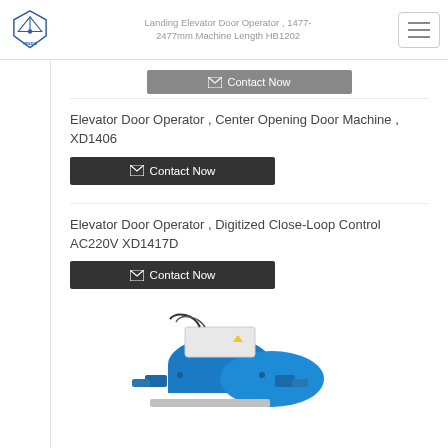Landing Elevator Door Operator , 1477-2477mm Machine Length HB1202
Contact Now
Elevator Door Operator , Center Opening Door Machine , XD1406
Contact Now
Elevator Door Operator , Digitized Close-Loop Control AC220V XD1417D
Contact Now
[Figure (photo): Blue elevator door operator machine with motor and mechanical components]